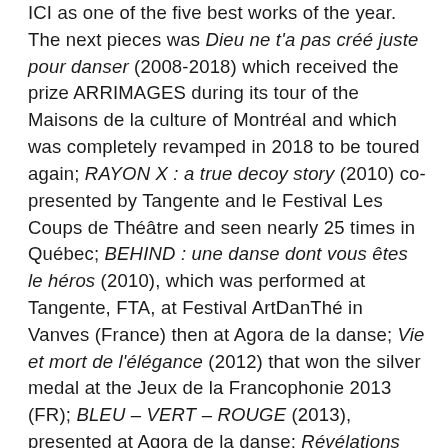ICI as one of the five best works of the year. The next pieces was Dieu ne t'a pas créé juste pour danser (2008-2018) which received the prize ARRIMAGES during its tour of the Maisons de la culture of Montréal and which was completely revamped in 2018 to be toured again; RAYON X : a true decoy story (2010) co-presented by Tangente and le Festival Les Coups de Théâtre and seen nearly 25 times in Québec; BEHIND : une danse dont vous êtes le héros (2010), which was performed at Tangente, FTA, at Festival ArtDanThé in Vanves (France) then at Agora de la danse; Vie et mort de l'élégance (2012) that won the silver medal at the Jeux de la Francophonie 2013 (FR); BLEU – VERT – ROUGE (2013), presented at Agora de la danse; Révélations (2014), first presented in Spain and then at Tangente in Montréal in its final version; Persona (2015) created for EDCM graduates and presented in Ivory Coast during the Jeux de la Francophonie 2017; and